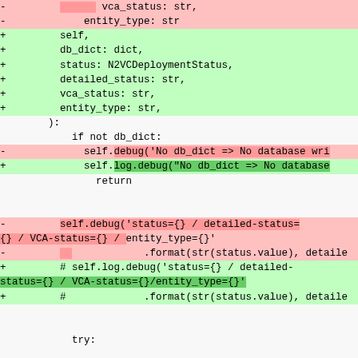[Figure (screenshot): Code diff showing Python function parameter changes and debug logging updates, with removed lines in red/pink background and added lines in green background.]